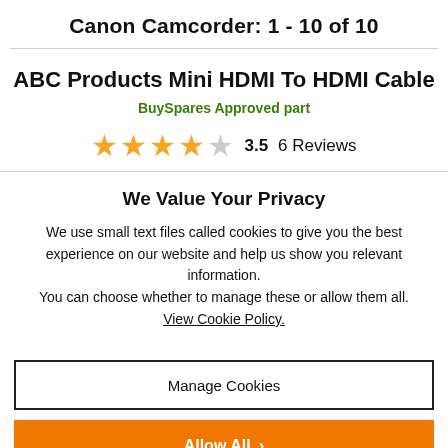Canon Camcorder: 1 - 10 of 10
ABC Products Mini HDMI To HDMI Cable
BuySpares Approved part
3.5  6 Reviews
We Value Your Privacy
We use small text files called cookies to give you the best experience on our website and help us show you relevant information. You can choose whether to manage these or allow them all. View Cookie Policy.
Manage Cookies
Allow All >